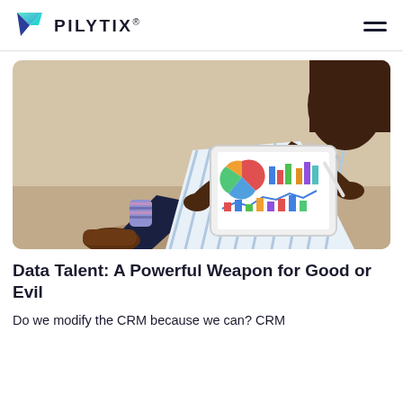PILYTIX®
[Figure (photo): A man in a striped shirt and navy trousers sitting casually, holding a tablet displaying colorful charts and graphs. He holds a stylus in his right hand. Brown leather shoes visible at left.]
Data Talent: A Powerful Weapon for Good or Evil
Do we modify the CRM because we can? CRM